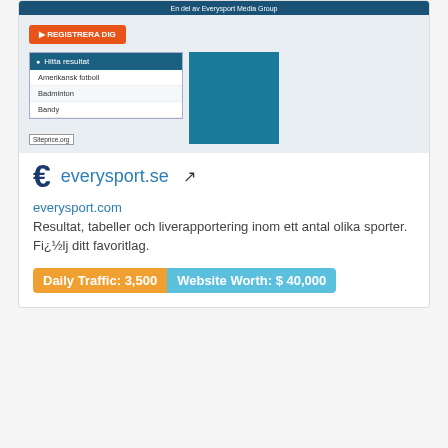[Figure (screenshot): Screenshot of everysport.se website showing a dark blue top bar with 'En del av Everysport Media Group', an orange 'REGISTRERA DIG' button, a dropdown menu with 'Hitta resultat' header and items Amerikansk fotboll, Badminton, Bandy, and a teal blue box. Siteprice.org watermark visible.]
everysport.se
everysport.com
Resultat, tabeller och liverapportering inom ett antal olika sporter. Fi¿½lj ditt favoritlag.
Daily Traffic: 3,500
Website Worth: $ 40,000